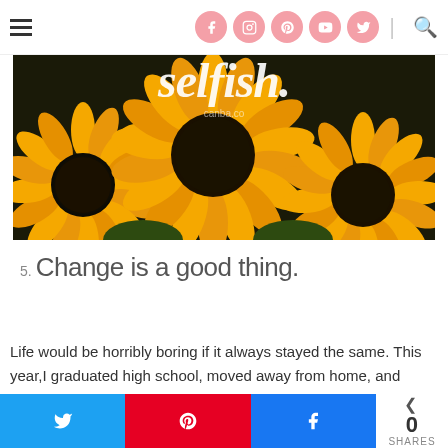Navigation header with hamburger menu, social icons (Facebook, Instagram, Pinterest, YouTube, Twitter), and search icon
[Figure (photo): Sunflower image with bold italic text 'selfish.' overlaid at top center, and 'canba.co' watermark below it. Background is dark with bright yellow sunflowers filling the frame.]
5. Change is a good thing.
Life would be horribly boring if it always stayed the same. This year,I graduated high school, moved away from home, and
Share bar: Twitter, Pinterest, Facebook buttons; 0 SHARES